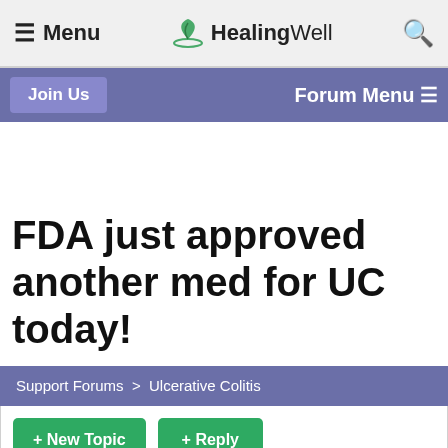≡ Menu  HealingWell  🔍
Join Us   Forum Menu ≡
FDA just approved another med for UC today!
Support Forums > Ulcerative Colitis
+ New Topic   + Reply
Sara14
Posts : 7228